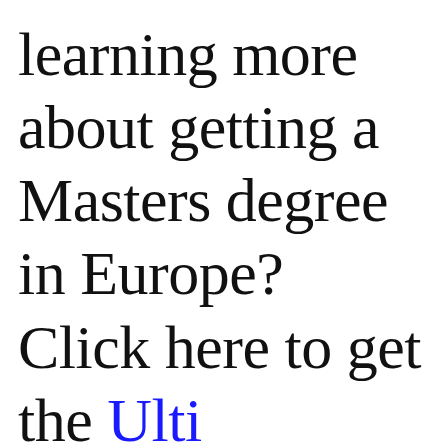learning more about getting a Masters degree in Europe? Click here to get the Ulti...